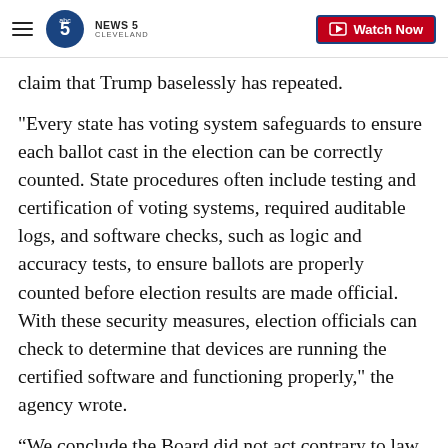News 5 Cleveland — Watch Now
claim that Trump baselessly has repeated.
"Every state has voting system safeguards to ensure each ballot cast in the election can be correctly counted. State procedures often include testing and certification of voting systems, required auditable logs, and software checks, such as logic and accuracy tests, to ensure ballots are properly counted before election results are made official. With these security measures, election officials can check to determine that devices are running the certified software and functioning properly," the agency wrote.
“We conclude the Board did not act contrary to law in fashioning its regulations governing the positioning of